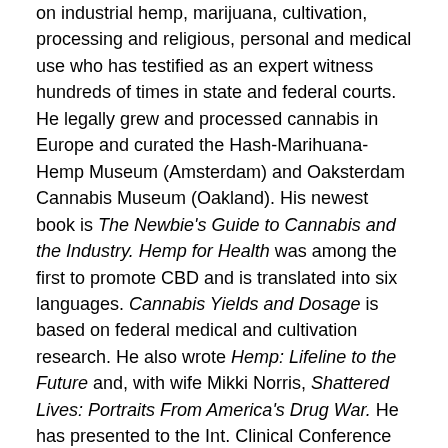on industrial hemp, marijuana, cultivation, processing and religious, personal and medical use who has testified as an expert witness hundreds of times in state and federal courts. He legally grew and processed cannabis in Europe and curated the Hash-Marihuana-Hemp Museum (Amsterdam) and Oaksterdam Cannabis Museum (Oakland). His newest book is The Newbie's Guide to Cannabis and the Industry. Hemp for Health was among the first to promote CBD and is translated into six languages. Cannabis Yields and Dosage is based on federal medical and cultivation research. He also wrote Hemp: Lifeline to the Future and, with wife Mikki Norris, Shattered Lives: Portraits From America's Drug War. He has presented to the Int. Clinical Conference on Cannabis Therapeutics, California Assn. of Toxicologists, National Academy of Science, Uruguayan Ministry of Interior, International Pharmaceutical Academy, etc. He consulted with Drug Policy Action on Prop. 64.
200-word bio